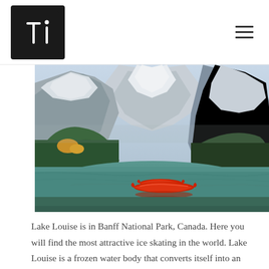ti (logo)
[Figure (photo): Scenic photograph of Lake Louise in Banff National Park, Canada. A turquoise glacial lake reflects snow-capped Rocky Mountains in the background. Dense evergreen forests line the mountain slopes. Two bright red canoes float on the calm water in the foreground.]
Lake Louise is in Banff National Park, Canada. Here you will find the most attractive ice skating in the world. Lake Louise is a frozen water body that converts itself into an ice rink in mid-December. Here you will find Canada's most famous Rocky Mountains. The whole area surrounded by beautiful snow-capped mountains will take your breath with its terrific look. The